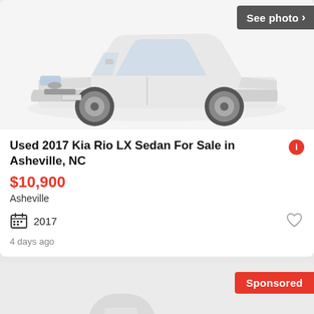[Figure (photo): White 2017 Kia Rio LX Sedan photographed on a white background, front three-quarter view]
Used 2017 Kia Rio LX Sedan For Sale in Asheville, NC
$10,900
Asheville
2017
4 days ago
[Figure (photo): Placeholder car icon (blurred gray silhouette) for a sponsored vehicle listing with no photo available]